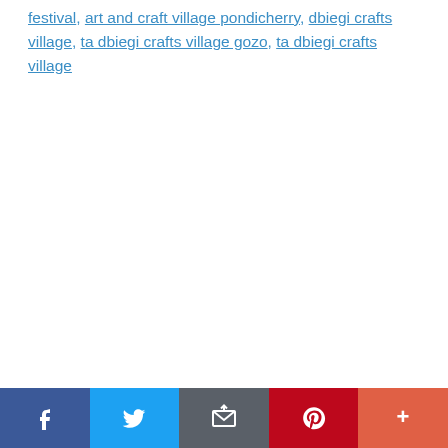festival, art and craft village pondicherry, dbiegi crafts village, ta dbiegi crafts village gozo, ta dbiegi crafts village
Social share bar: Facebook, Twitter, Email, Pinterest, More